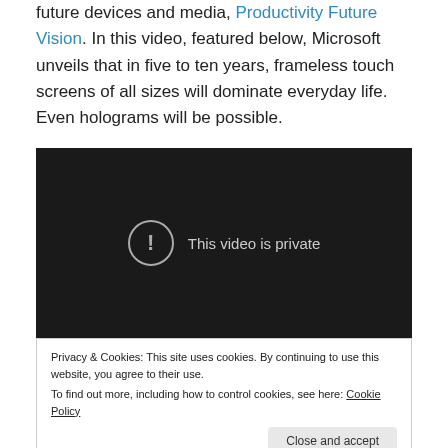future devices and media, Productivity Future Vision. In this video, featured below, Microsoft unveils that in five to ten years, frameless touch screens of all sizes will dominate everyday life. Even holograms will be possible.
[Figure (screenshot): Embedded video player showing a black screen with a circular exclamation icon and text 'This video is private']
Privacy & Cookies: This site uses cookies. By continuing to use this website, you agree to their use.
To find out more, including how to control cookies, see here: Cookie Policy